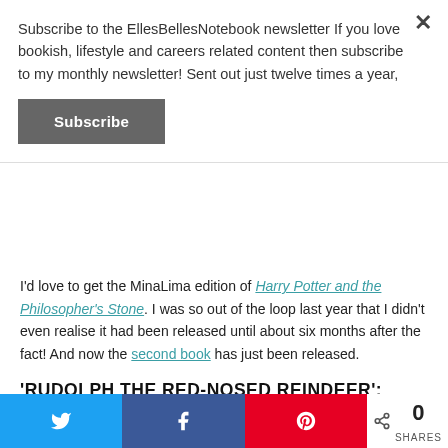Subscribe to the EllesBellesNotebook newsletter If you love bookish, lifestyle and careers related content then subscribe to my monthly newsletter! Sent out just twelve times a year,
Subscribe
I'd love to get the MinaLima edition of Harry Potter and the Philosopher's Stone. I was so out of the loop last year that I didn't even realise it had been released until about six months after the fact! And now the second book has just been released.
'RUDOLPH THE RED-NOSED REINDEER': WHICH BOOK TURNED YOUR NOSE READ (MADE YOU CRY)?
I haven't cried at a book in a while, but the one that I always
0 SHARES